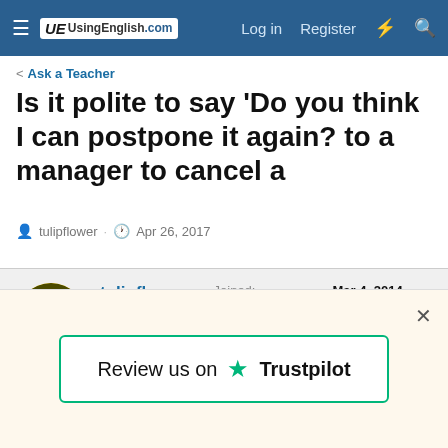UsingEnglish.com — Log in | Register
< Ask a Teacher
Is it polite to say 'Do you think I can postpone it again? to a manager to cancel a
tulipflower · Apr 26, 2017
| Field | Value |
| --- | --- |
| Joined: | Mar 4, 2014 |
| Member Type: | English Teacher |
| Native Language: | Persian |
| Home Country: | Iran |
| Current Location: | Iran |
tulipflower
Member
[Figure (other): Review us on Trustpilot popup banner with green star and border]
Review us on ★ Trustpilot